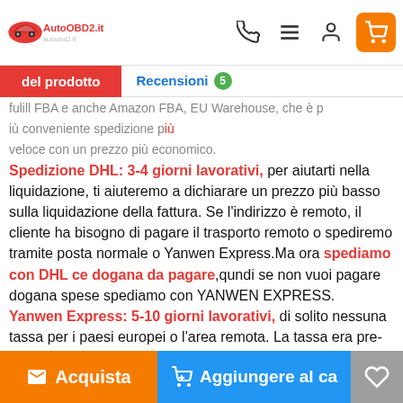AutoOBD2.it autoobd2.it
del prodotto | Recensioni 5
...fulill FBA e anche Amazon FBA, EU Warehouse, che è più conveniente... spedizione più veloce con un prezzo più economico.
Spedizione DHL: 3-4 giorni lavorativi, per aiutarti nella liquidazione, ti aiuteremo a dichiarare un prezzo più basso sulla liquidazione della fattura. Se l'indirizzo è remoto, il cliente ha bisogno di pagare il trasporto remoto o spediremo tramite posta normale o Yanwen Express.Ma ora spediamo con DHL ce dogana da pagare,qundi se non vuoi pagare dogana spese spediamo con YANWEN EXPRESS.
Yanwen Express: 5-10 giorni lavorativi, di solito nessuna tassa per i paesi europei o l'area remota. La tassa era pre-pagata, quando il pacchetto è stato raggiunto, non c'è nessuna tassa per i clienti.
Acquista | Aggiungere al ca